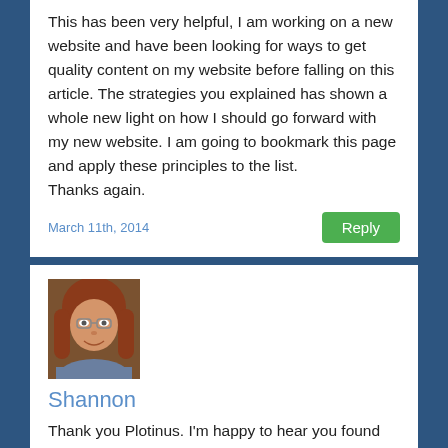This has been very helpful, I am working on a new website and have been looking for ways to get quality content on my website before falling on this article. The strategies you explained has shown a whole new light on how I should go forward with my new website. I am going to bookmark this page and apply these principles to the list.
Thanks again.
March 11th, 2014
Reply
[Figure (photo): Profile photo of Shannon, a woman with reddish-brown hair and glasses, smiling]
Shannon
Thank you Plotinus. I'm happy to hear you found the article helpful.